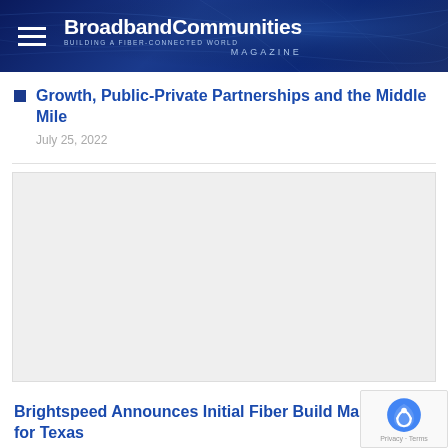BroadbandCommunities MAGAZINE — BUILDING A FIBER-CONNECTED WORLD
Growth, Public-Private Partnerships and the Middle Mile
July 25, 2022
[Figure (photo): Article thumbnail image placeholder (light gray box)]
Brightspeed Announces Initial Fiber Build Markets for Texas
June 20, 2022